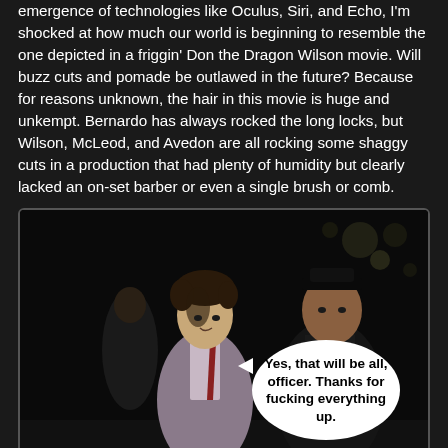emergence of technologies like Oculus, Siri, and Echo, I'm shocked at how much our world is beginning to resemble the one depicted in a friggin' Don the Dragon Wilson movie. Will buzz cuts and pomade be outlawed in the future? Because for reasons unknown, the hair in this movie is huge and unkempt. Bernardo has always rocked the long locks, but Wilson, McLeod, and Avedon are all rocking some shaggy cuts in a production that had plenty of humidity but clearly lacked an on-set barber or even a single brush or comb.
[Figure (photo): A still from a movie showing a man in a suit with shaggy hair facing a police officer, with a speech bubble reading 'Yes, that will be all, officer. Thanks for fucking everything up.']